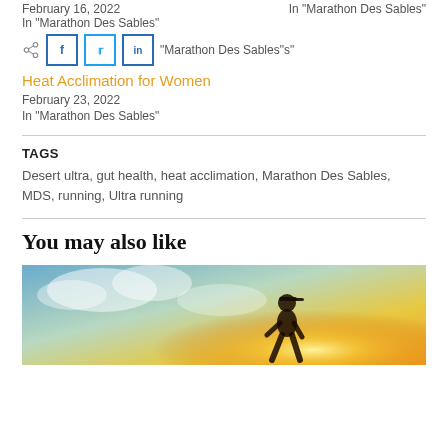February 16, 2022
In "Marathon Des Sables"
In "Marathon Des Sables"
[Figure (other): Share icons: Facebook, Twitter, LinkedIn social sharing buttons]
Heat Acclimation for Women
February 23, 2022
In "Marathon Des Sables"
TAGS
Desert ultra, gut health, heat acclimation, Marathon Des Sables, MDS, running, Ultra running
You may also like
[Figure (photo): Photo of a runner wearing a cap with sunlight/warm glow background, warm golden tones suggesting heat and running outdoors]